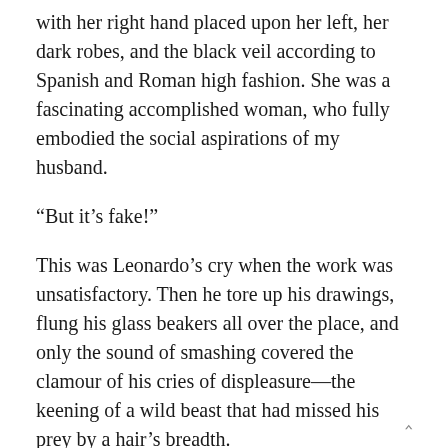with her right hand placed upon her left, her dark robes, and the black veil according to Spanish and Roman high fashion. She was a fascinating accomplished woman, who fully embodied the social aspirations of my husband.
“But it’s fake!”
This was Leonardo’s cry when the work was unsatisfactory. Then he tore up his drawings, flung his glass beakers all over the place, and only the sound of smashing covered the clamour of his cries of displeasure—the keening of a wild beast that had missed his prey by a hair’s breadth.
The problem was the face.
First he tried putting a bonnet on my head. Then